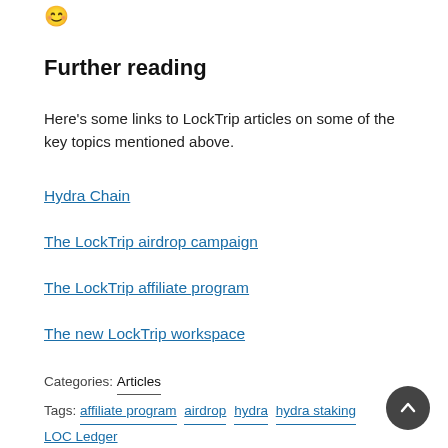[Figure (illustration): Smiley face emoji icon]
Further reading
Here’s some links to LockTrip articles on some of the key topics mentioned above.
Hydra Chain
The LockTrip airdrop campaign
The LockTrip affiliate program
The new LockTrip workspace
Categories: Articles
Tags: affiliate program  airdrop  hydra  hydra staking  LOC Ledger  LockTrip blockchain  LockTrip marketplace